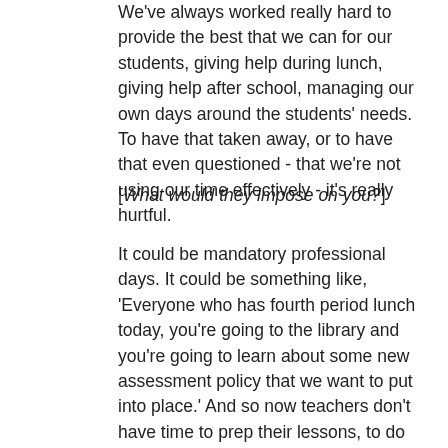We've always worked really hard to provide the best that we can for our students, giving help during lunch, giving help after school, managing our own days around the students' needs. To have that taken away, or to have that even questioned - that we're not using our time effectively - it's really hurtful.
[What would they impose on you?]
It could be mandatory professional days. It could be something like, 'Everyone who has fourth period lunch today, you're going to the library and you're going to learn about some new assessment policy that we want to put into place.' And so now teachers don't have time to prep their lessons, to do their marking, to do all the stuff they need to do to be good teachers. So many of us are involved in so many voluntary things throughout the school. We're coaching teams, we're running clubs, we're sitting on committees for assessment evaluation or safe-